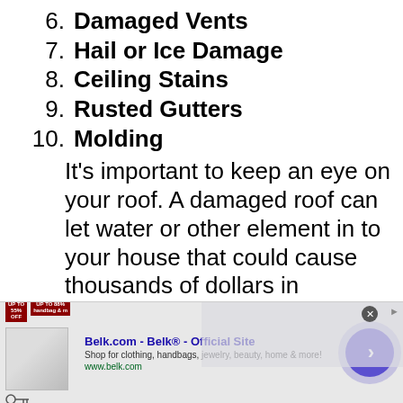6. Damaged Vents
7. Hail or Ice Damage
8. Ceiling Stains
9. Rusted Gutters
10. Molding
It's important to keep an eye on your roof. A damaged roof can let water or other element in to your house that could cause thousands of dollars in damage. Here are
[Figure (other): Belk.com advertisement banner with promotional offers, product image, title 'Belk.com - Belk® - Official Site', description 'Shop for clothing, handbags, jewelry, beauty, home & more!', URL 'www.belk.com', and a navigation arrow button]